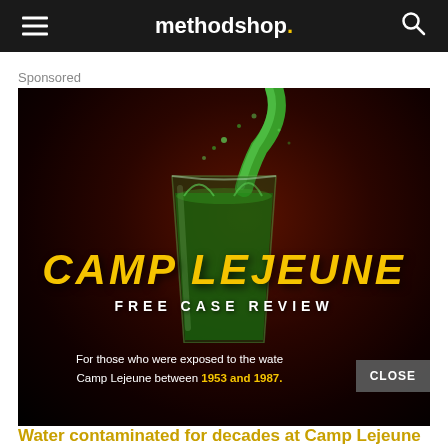methodshop.
Sponsored
[Figure (photo): Camp Lejeune Free Case Review advertisement. Dark background with green liquid splashing into a glass. Large gold distressed text reads 'CAMP LEJEUNE' with white text 'FREE CASE REVIEW' below. Bottom text reads: 'For those who were exposed to the water at Camp Lejeune between 1953 and 1987.' with a CLOSE button overlay.]
Water contaminated for decades at Camp Lejeune